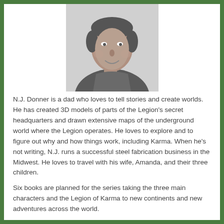[Figure (photo): Black and white headshot photo of N.J. Donner, a smiling man wearing a sweater, cropped at the shoulders.]
N.J. Donner is a dad who loves to tell stories and create worlds. He has created 3D models of parts of the Legion's secret headquarters and drawn extensive maps of the underground world where the Legion operates. He loves to explore and to figure out why and how things work, including Karma. When he's not writing, N.J. runs a successful steel fabrication business in the Midwest. He loves to travel with his wife, Amanda, and their three children.
Six books are planned for the series taking the three main characters and the Legion of Karma to new continents and new adventures across the world.
Connect with the author: Website ~ Book Website ~ Twitter ~ Facebook ~ Instagram